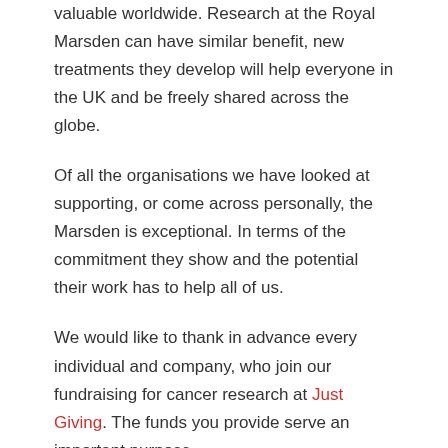valuable worldwide. Research at the Royal Marsden can have similar benefit, new treatments they develop will help everyone in the UK and be freely shared across the globe.
Of all the organisations we have looked at supporting, or come across personally, the Marsden is exceptional. In terms of the commitment they show and the potential their work has to help all of us.
We would like to thank in advance every individual and company, who join our fundraising for cancer research at Just Giving. The funds you provide serve an important purpose.
CLIENT SUPPORT